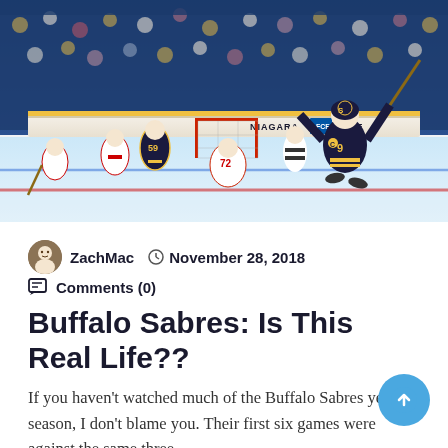[Figure (photo): Hockey action photo showing Buffalo Sabres players celebrating a goal on ice. A Sabres player in dark jersey celebrates with arms raised near the net, with Columbus Blue Jackets players (including player #72) in white jerseys visible nearby. Arena crowd in background with Niagara/Super branding on boards.]
ZachMac  November 28, 2018  Comments (0)
Buffalo Sabres: Is This Real Life??
If you haven't watched much of the Buffalo Sabres yet this season, I don't blame you. Their first six games were against the same three